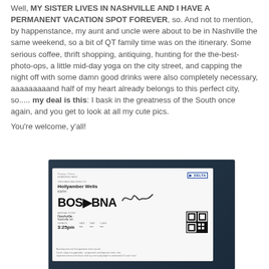Well,  MY SISTER LIVES IN NASHVILLE AND I HAVE A PERMANENT VACATION SPOT FOREVER, so.  And not to mention, by happenstance, my aunt and uncle were about to be in Nashville the same weekend, so a bit of QT family time was on the itinerary.  Some serious coffee, thrift shopping, antiquing, hunting for the the-best-photo-ops, a little mid-day yoga on the city street, and capping the night off with some damn good drinks were also completely necessary, aaaaaaaaand half of my heart already belongs to this perfect city, so..... my deal is this:  I bask in the greatness of the South once again, and you get to look at all my cute pics.

You're welcome, y'all!
[Figure (photo): A Delta Airlines boarding pass for Hollyamber Wells (KWTH) from BOS to BNA (Boston to Nashville), departure time 3:25pm, photographed in an airplane seat.]